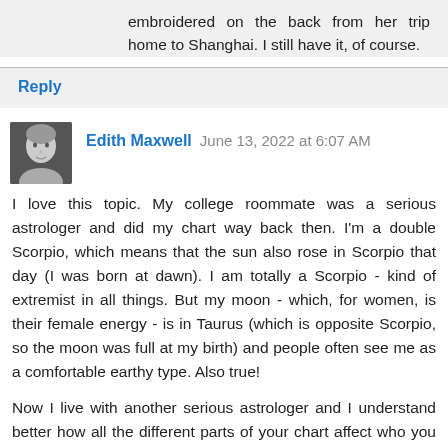embroidered on the back from her trip home to Shanghai. I still have it, of course.
Reply
Edith Maxwell  June 13, 2022 at 6:07 AM
[Figure (photo): Small black and white avatar photo of a woman, likely Edith Maxwell]
I love this topic. My college roommate was a serious astrologer and did my chart way back then. I'm a double Scorpio, which means that the sun also rose in Scorpio that day (I was born at dawn). I am totally a Scorpio - kind of extremist in all things. But my moon - which, for women, is their female energy - is in Taurus (which is opposite Scorpio, so the moon was full at my birth) and people often see me as a comfortable earthy type. Also true!
Now I live with another serious astrologer and I understand better how all the different parts of your chart affect who you are. Some of you Reds who don't feel your sun sign identifies you well might have other major parts of your chart (rising sign, moon, and the planets closest to the sun)